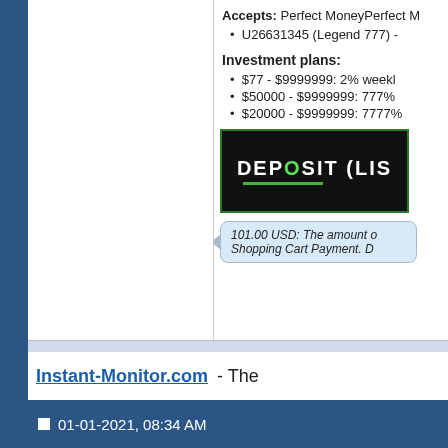Accepts: Perfect MoneyPerfect M
U26631345 (Legend 777) -
Investment plans:
$77 - $9999999: 2% weekl
$50000 - $9999999: 777%
$20000 - $9999999: 7777%
[Figure (screenshot): Dark banner with white bold text reading DEPOSIT (LIS with green underline]
101.00 USD: The amount o Shopping Cart Payment. D
Instant-Monitor.com - The
01-01-2021, 08:34 AM